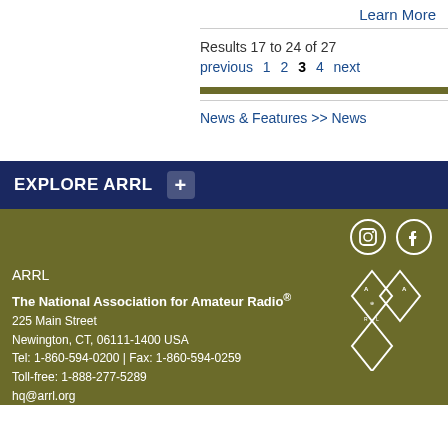Learn More
Results 17 to 24 of 27
previous 1 2 3 4 next
News & Features >> News
EXPLORE ARRL
ARRL
The National Association for Amateur Radio®
225 Main Street
Newington, CT, 06111-1400 USA
Tel: 1-860-594-0200 | Fax: 1-860-594-0259
Toll-free: 1-888-277-5289
hq@arrl.org